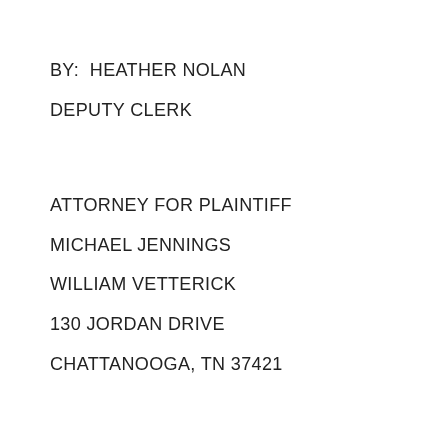BY:  HEATHER NOLAN
DEPUTY CLERK
ATTORNEY FOR PLAINTIFF
MICHAEL JENNINGS
WILLIAM VETTERICK
130 JORDAN DRIVE
CHATTANOOGA, TN 37421
NON-RESIDENT NOTICE